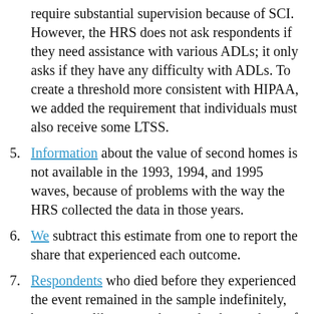require substantial supervision because of SCI. However, the HRS does not ask respondents if they need assistance with various ADLs; it only asks if they have any difficulty with ADLs. To create a threshold more consistent with HIPAA, we added the requirement that individuals must also receive some LTSS.
Information about the value of second homes is not available in the 1993, 1994, and 1995 waves, because of problems with the way the HRS collected the data in those years.
We subtract this estimate from one to report the share that experienced each outcome.
Respondents who died before they experienced the event remained in the sample indefinitely, because unlike respondents who dropped out of the survey they could never subsequently experience the event.
For more information on survival curves, see Kiefer